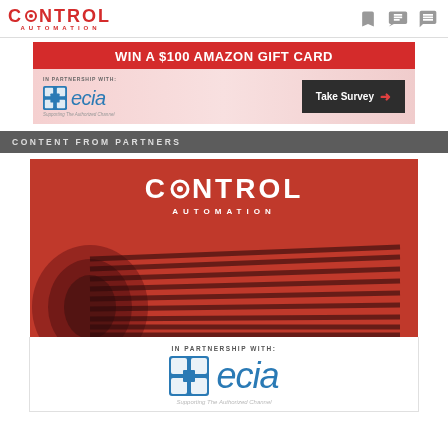[Figure (logo): Control Automation logo in red, top-left header]
[Figure (infographic): Banner ad: WIN A $100 AMAZON GIFT CARD with ECIA partnership logo and Take Survey button]
CONTENT FROM PARTNERS
[Figure (logo): Control Automation logo on red background with dark swoosh lines graphic]
[Figure (logo): ECIA logo with IN PARTNERSHIP WITH text and Supporting The Authorized Channel tagline]